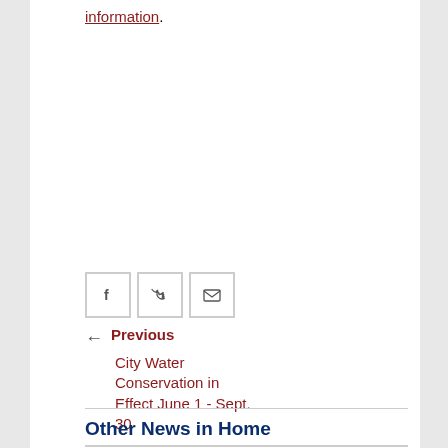information.
[Figure (other): Social media share buttons: Facebook, Twitter, Email]
← Previous
City Water Conservation in Effect June 1 - Sept. 30
Other News in Home